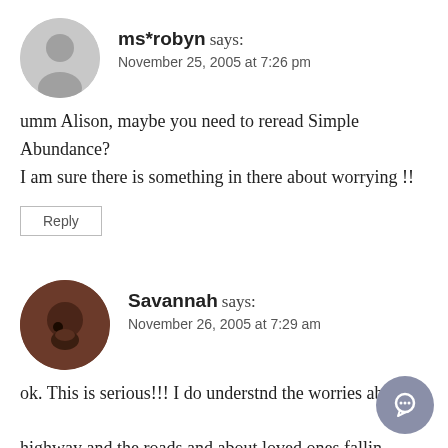ms*robyn says:
November 25, 2005 at 7:26 pm
umm Alison, maybe you need to reread Simple Abundance? I am sure there is something in there about worrying !!
Reply
Savannah says:
November 26, 2005 at 7:29 am
ok. This is serious!!! I do understnd the worries about the highway and the roads and about loved ones falling. I guess I put them in the same place that others put worries